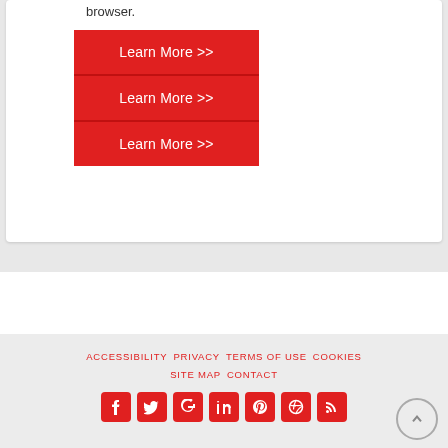browser.
Learn More >>
Learn More >>
Learn More >>
Support Center
Have a problem? We're here to help
ACCESSIBILITY   PRIVACY   TERMS OF USE   COOKIES   SITE MAP   CONTACT